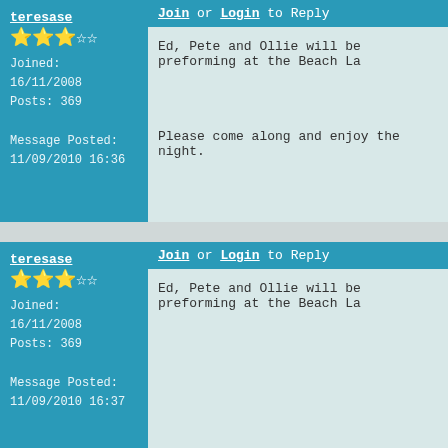teresase
Joined: 16/11/2008
Posts: 369
Message Posted: 11/09/2010 16:36
Join or Login to Reply
Ed, Pete and Ollie will be preforming at the Beach La

Please come along and enjoy the night.
teresase
Joined: 16/11/2008
Posts: 369
Message Posted: 11/09/2010 16:37
Join or Login to Reply
Ed, Pete and Ollie will be preforming at the Beach La